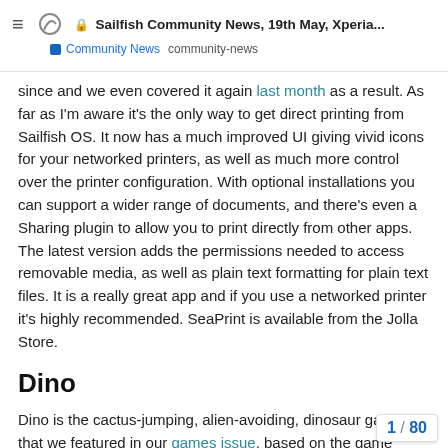🔒 Sailfish Community News, 19th May, Xperia... | Community News  community-news
since and we even covered it again last month as a result. As far as I'm aware it's the only way to get direct printing from Sailfish OS. It now has a much improved UI giving vivid icons for your networked printers, as well as much more control over the printer configuration. With optional installations you can support a wider range of documents, and there's even a Sharing plugin to allow you to print directly from other apps. The latest version adds the permissions needed to access removable media, as well as plain text formatting for plain text files. It is a really great app and if you use a networked printer it's highly recommended. SeaPrint is available from the Jolla Store.
Dino
Dino is the cactus-jumping, alien-avoiding, dinosaur game that we featured in our games issue, based on the game embedded in the Chrome web browser. Ported to Sailfish OS by Rustem Abzalov (arustg), the latest version adds S also a lovely new cover design featuring th
1 / 80